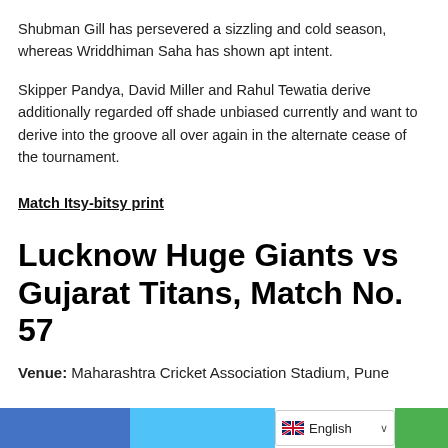Shubman Gill has persevered a sizzling and cold season, whereas Wriddhiman Saha has shown apt intent.
Skipper Pandya, David Miller and Rahul Tewatia derive additionally regarded off shade unbiased currently and want to derive into the groove all over again in the alternate cease of the tournament.
Match Itsy-bitsy print
Lucknow Huge Giants vs Gujarat Titans, Match No. 57
Venue: Maharashtra Cricket Association Stadium, Pune
English